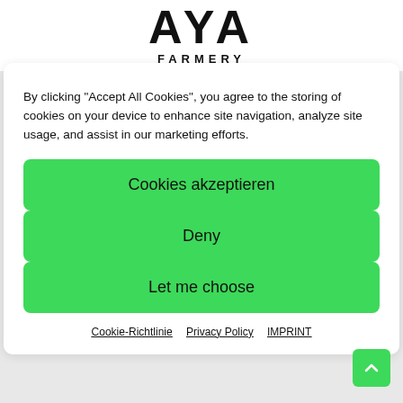AYA
FARMERY
By clicking “Accept All Cookies”, you agree to the storing of cookies on your device to enhance site navigation, analyze site usage, and assist in our marketing efforts.
Cookies akzeptieren
Deny
Let me choose
Cookie-Richtlinie   Privacy Policy   IMPRINT